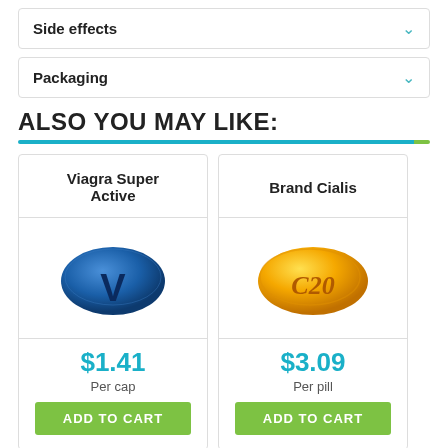Side effects
Packaging
ALSO YOU MAY LIKE:
[Figure (other): Blue oval pill with letter V - Viagra Super Active]
Viagra Super Active
$1.41
Per cap
ADD TO CART
[Figure (other): Orange/gold oval pill with C20 marking - Brand Cialis]
Brand Cialis
$3.09
Per pill
ADD TO CART
Viagra Soft
Viagra Plus